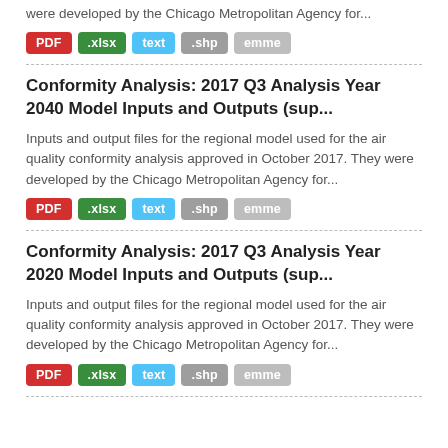were developed by the Chicago Metropolitan Agency for...
PDF .xlsx text .shp emme
Conformity Analysis: 2017 Q3 Analysis Year 2040 Model Inputs and Outputs (sup...
Inputs and output files for the regional model used for the air quality conformity analysis approved in October 2017. They were developed by the Chicago Metropolitan Agency for...
PDF .xlsx text .shp emme
Conformity Analysis: 2017 Q3 Analysis Year 2020 Model Inputs and Outputs (sup...
Inputs and output files for the regional model used for the air quality conformity analysis approved in October 2017. They were developed by the Chicago Metropolitan Agency for...
PDF .xlsx text .shp emme